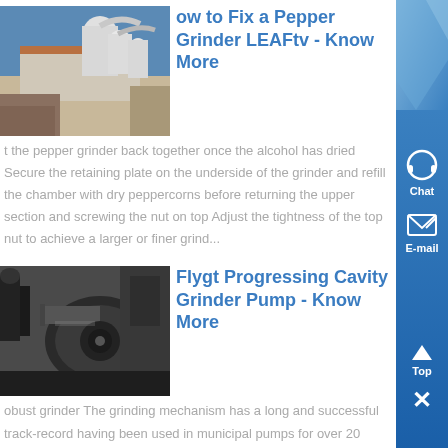[Figure (photo): Industrial grinding/milling facility with large pipes and equipment, outdoor, blue sky]
How to Fix a Pepper Grinder LEAFtv - Know More
t the pepper grinder back together once the alcohol has dried Secure the retaining plate on the underside of the grinder and refill the chamber with dry peppercorns before returning the upper section and screwing the nut on top Adjust the tightness of the top nut to achieve a larger or finer grind...
[Figure (photo): Industrial pump or grinder machinery, black and white photo]
Flygt Progressing Cavity Grinder Pump - Know More
obust grinder The grinding mechanism has a long and successful track-record having been used in municipal pumps for over 20 years It is extremely robust and